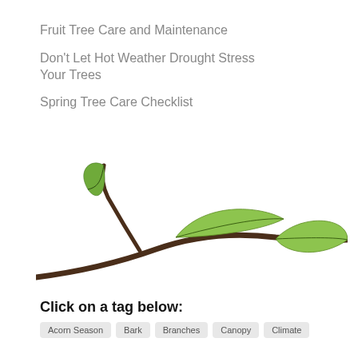Fruit Tree Care and Maintenance
Don't Let Hot Weather Drought Stress Your Trees
Spring Tree Care Checklist
[Figure (illustration): A decorative branch illustration with green leaves on a brown branch, spanning horizontally across the page]
Click on a tag below:
Acorn Season
Bark
Branches
Canopy
Climate